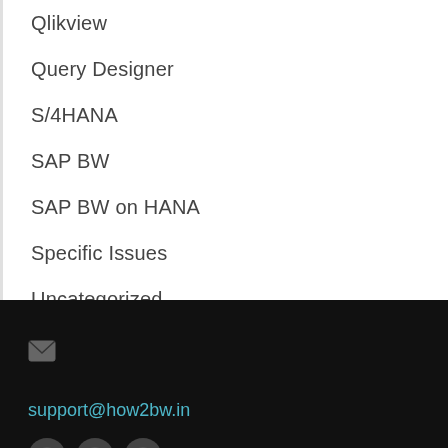Qlikview
Query Designer
S/4HANA
SAP BW
SAP BW on HANA
Specific Issues
Uncategorized
support@how2bw.in